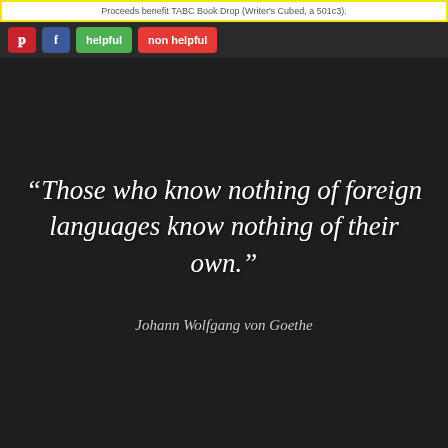Proceeds benefit TABC Book Drop (Writer's Cubed, a 501c3).
[Figure (screenshot): Dark background inspirational quote image with Pinterest and Facebook share buttons, helpful/non-helpful rating buttons, and a white italic serif quote by Johann Wolfgang von Goethe: 'Those who know nothing of foreign languages know nothing of their own.']
“Those who know nothing of foreign languages know nothing of their own.”
Johann Wolfgang von Goethe